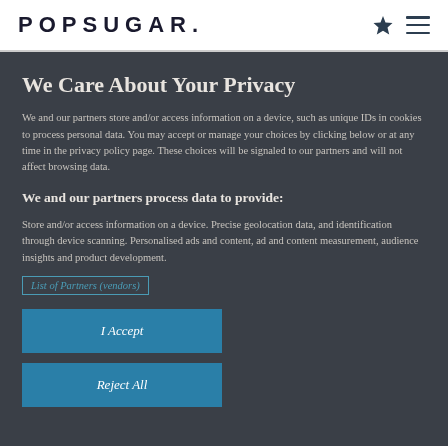POPSUGAR.
We Care About Your Privacy
We and our partners store and/or access information on a device, such as unique IDs in cookies to process personal data. You may accept or manage your choices by clicking below or at any time in the privacy policy page. These choices will be signaled to our partners and will not affect browsing data.
We and our partners process data to provide:
Store and/or access information on a device. Precise geolocation data, and identification through device scanning. Personalised ads and content, ad and content measurement, audience insights and product development.
List of Partners (vendors)
I Accept
Reject All